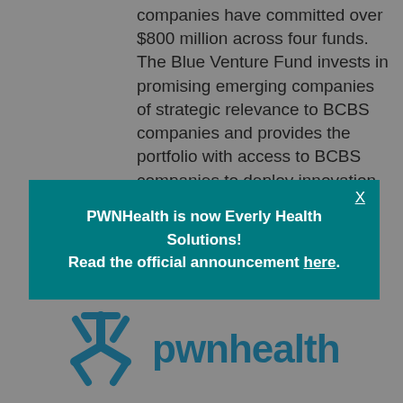companies have committed over $800 million across four funds. The Blue Venture Fund invests in promising emerging companies of strategic relevance to BCBS companies and provides the portfolio with access to BCBS companies to deploy innovation at scale. Sandbox is an independent company that provides
[Figure (screenshot): Popup banner with teal background and white text reading: PWNHealth is now Everly Health Solutions! Read the official announcement here. An X close button appears in the top right corner of the banner.]
visit www.BlueVentureFund.com.
[Figure (logo): PWNHealth logo: teal three-pronged asterisk/snowflake icon followed by lowercase text 'pwnhealth' in dark teal.]